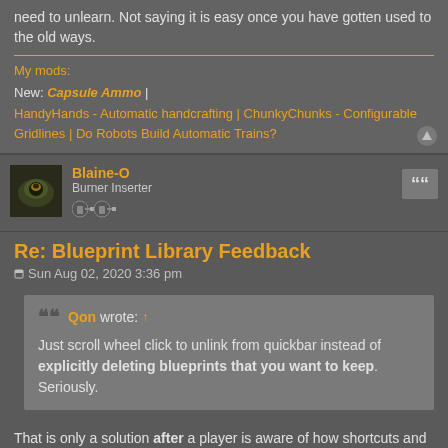need to unlearn. Not saying it is easy once you have gotten used to the old ways.
My mods:
New: Capsule Ammo |
HandyHands - Automatic handcrafting | ChunkyChunks - Configurable Gridlines | Do Robots Build Automatic Trains?
Blaine-O
Burner Inserter
Re: Blueprint Library Feedback
Sun Aug 02, 2020 3:36 pm
Qon wrote: ↑
Just scroll wheel click to unlink from quickbar instead of explicitly deleting blueprints that you want to keep. Seriously.
That is only a solution after a player is aware of how shortcuts and shortcut removal (via MMB) function and how